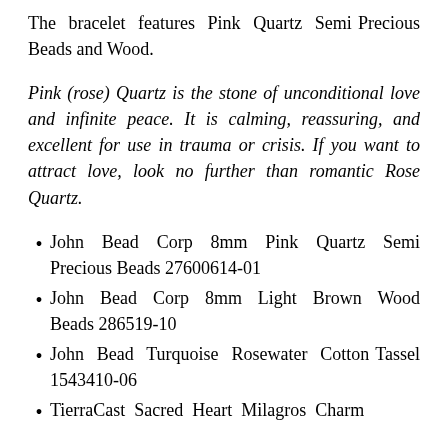The bracelet features Pink Quartz Semi Precious Beads and Wood.
Pink (rose) Quartz is the stone of unconditional love and infinite peace. It is calming, reassuring, and excellent for use in trauma or crisis. If you want to attract love, look no further than romantic Rose Quartz.
John Bead Corp 8mm Pink Quartz Semi Precious Beads 27600614-01
John Bead Corp 8mm Light Brown Wood Beads 286519-10
John Bead Turquoise Rosewater Cotton Tassel 1543410-06
TierraCast Sacred Heart Milagros Charm